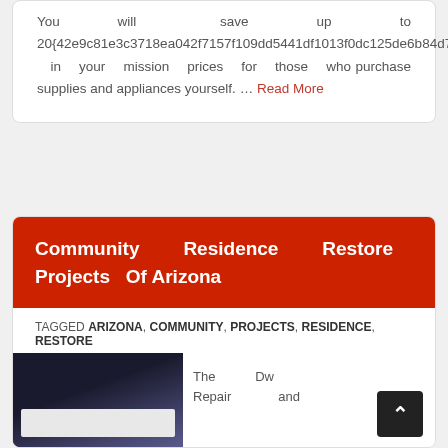You will save up to 20{42e9c81e3c3718ea042f7157f109dd5441df1013f0dc125de6b84d7945a050e7} in your mission prices for those who purchase supplies and appliances yourself. … Read More
Community Residence Restore Projects Of Arizona
TAGGED ARIZONA, COMMUNITY, PROJECTS, RESIDENCE, RESTORE
The Dw Repair and